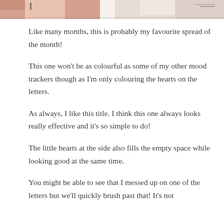[Figure (photo): Cropped photo strip at top of page showing what appears to be a person wearing a light/pink colored outfit and a hat, partially visible]
Like many months, this is probably my favourite spread of the month!
This one won't be as colourful as some of my other mood trackers though as I'm only colouring the hearts on the letters.
As always, I like this title. I think this one always looks really effective and it's so simple to do!
The little hearts at the side also fills the empty space while looking good at the same time.
You might be able to see that I messed up on one of the letters but we'll quickly brush past that! It's not